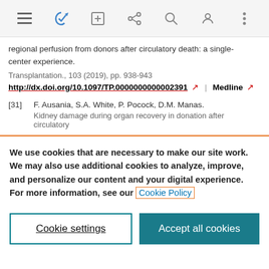[Figure (screenshot): Web browser toolbar with hamburger menu, bookmark/star icon (blue), edit icon, share icon, search icon, profile icon, and more options icon]
regional perfusion from donors after circulatory death: a single-center experience.
Transplantation., 103 (2019), pp. 938-943
http://dx.doi.org/10.1097/TP.0000000000002391 ↗ | Medline ↗
[31] F. Ausania, S.A. White, P. Pocock, D.M. Manas. Kidney damage during organ recovery in donation after circulatory
We use cookies that are necessary to make our site work. We may also use additional cookies to analyze, improve, and personalize our content and your digital experience. For more information, see our Cookie Policy
Cookie settings
Accept all cookies